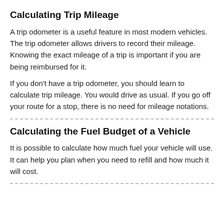Calculating Trip Mileage
A trip odometer is a useful feature in most modern vehicles. The trip odometer allows drivers to record their mileage. Knowing the exact mileage of a trip is important if you are being reimbursed for it.
If you don't have a trip odometer, you should learn to calculate trip mileage. You would drive as usual. If you go off your route for a stop, there is no need for mileage notations.
Calculating the Fuel Budget of a Vehicle
It is possible to calculate how much fuel your vehicle will use. It can help you plan when you need to refill and how much it will cost.